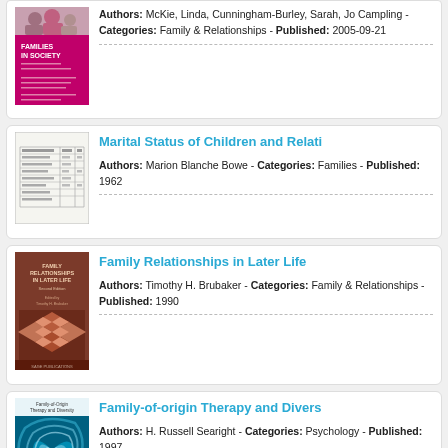[Figure (illustration): Book cover: Families in Society, pink/magenta cover with group photo at top]
Authors: McKie, Linda, Cunningham-Burley, Sarah, Jo Campling - Categories: Family & Relationships - Published: 2005-09-21
[Figure (illustration): Book cover: Marital Status of Children and Relations, plain white/text cover with tabular data]
Marital Status of Children and Relati
Authors: Marion Blanche Bowe - Categories: Families - Published: 1962
[Figure (illustration): Book cover: Family Relationships in Later Life, Second Edition, brown cover with geometric diamond pattern]
Family Relationships in Later Life
Authors: Timothy H. Brubaker - Categories: Family & Relationships - Published: 1990
[Figure (illustration): Book cover: Family-of-Origin Therapy and Diversity, teal/blue swirling fractal cover]
Family-of-origin Therapy and Divers
Authors: H. Russell Searight - Categories: Psychology - Published: 1997